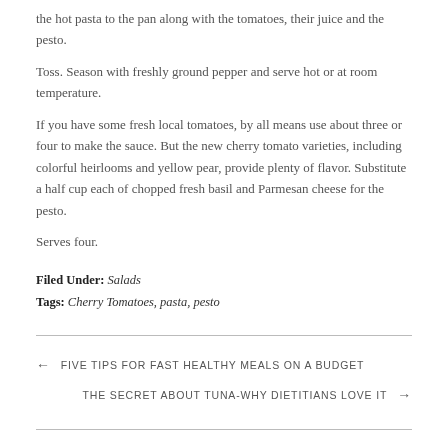the hot pasta to the pan along with the tomatoes, their juice and the pesto.
Toss. Season with freshly ground pepper and serve hot or at room temperature.
If you have some fresh local tomatoes, by all means use about three or four to make the sauce. But the new cherry tomato varieties, including colorful heirlooms and yellow pear, provide plenty of flavor. Substitute a half cup each of chopped fresh basil and Parmesan cheese for the pesto.
Serves four.
Filed Under: Salads
Tags: Cherry Tomatoes, pasta, pesto
← FIVE TIPS FOR FAST HEALTHY MEALS ON A BUDGET
THE SECRET ABOUT TUNA-WHY DIETITIANS LOVE IT →